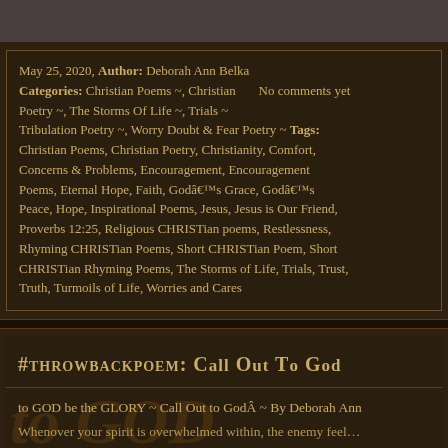May 25, 2020, Author: Deborah Ann Belka Categories: Christian Poems ~, Christian Poetry ~, The Storms Of Life ~, Trials ~ Tribulation Poetry ~, Worry Doubt & Fear Poetry ~ Tags: Christian Poems, Christian Poetry, Christianity, Comfort, Concerns & Problems, Encouragement, Encouragement Poems, Eternal Hope, Faith, Godâ€™s Grace, Godâ€™s Peace, Hope, Inspirational Poems, Jesus, Jesus is Our Friend, Proverbs 12:25, Religious CHRISTian poems, Restlessness, Rhyming CHRISTian Poems, Short CHRISTian Poem, Short CHRISTian Rhyming Poems, The Storms of Life, Trials, Trust, Truth, Turmoils of Life, Worries and Cares  No comments yet
#THROWBACKPOEM: CALL OUT TO GOD
to GOD be the GLORY ~ Call Out to GodÂ ~ By Deborah Ann Whenover your spirit is overwhelmed within, the enemy feel…